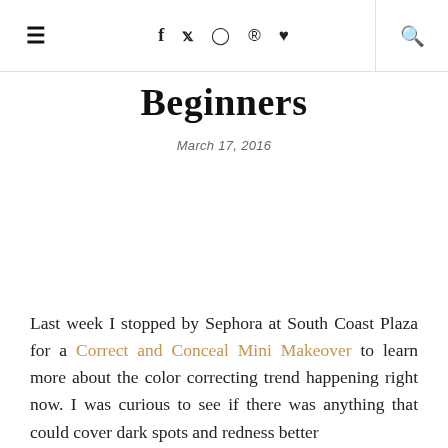≡  f  🐦  📷  📌  ♥  🔍
Beginners
March 17, 2016
Last week I stopped by Sephora at South Coast Plaza for a Correct and Conceal Mini Makeover to learn more about the color correcting trend happening right now. I was curious to see if there was anything that could cover dark spots and redness better